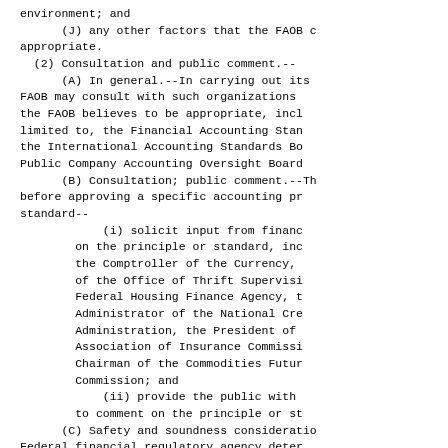environment; and
    (J) any other factors that the FAOB considers appropriate.
(2) Consultation and public comment.--
    (A) In general.--In carrying out its duties, the FAOB may consult with such organizations as the FAOB believes to be appropriate, including, but not limited to, the Financial Accounting Standards Board, the International Accounting Standards Board, and the Public Company Accounting Oversight Board.
    (B) Consultation; public comment.--The FAOB shall, before approving a specific accounting principle or standard--
        (i) solicit input from financial regulators on the principle or standard, including input from the Comptroller of the Currency, the Director of the Office of Thrift Supervision, the Federal Housing Finance Agency, the Administrator of the National Credit Union Administration, the President of the National Association of Insurance Commissioners, and the Chairman of the Commodities Futures Trading Commission; and
        (ii) provide the public with an opportunity to comment on the principle or standard.
    (C) Safety and soundness considerations.--If a Federal financial regulatory agency determines that an accounting principle or standard approved by the FAOB, or any accounting principle or standard in effect before the effective date of this Act, has an adverse